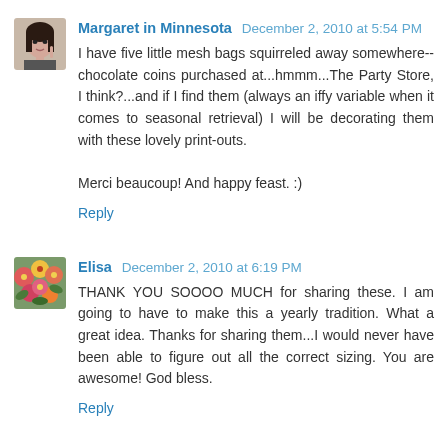[Figure (photo): Avatar photo of Margaret in Minnesota, a young woman]
Margaret in Minnesota December 2, 2010 at 5:54 PM
I have five little mesh bags squirreled away somewhere--chocolate coins purchased at...hmmm...The Party Store, I think?...and if I find them (always an iffy variable when it comes to seasonal retrieval) I will be decorating them with these lovely print-outs.

Merci beaucoup! And happy feast. :)
Reply
[Figure (photo): Avatar photo of Elisa, colorful flowers image]
Elisa December 2, 2010 at 6:19 PM
THANK YOU SOOOO MUCH for sharing these. I am going to have to make this a yearly tradition. What a great idea. Thanks for sharing them...I would never have been able to figure out all the correct sizing. You are awesome! God bless.
Reply